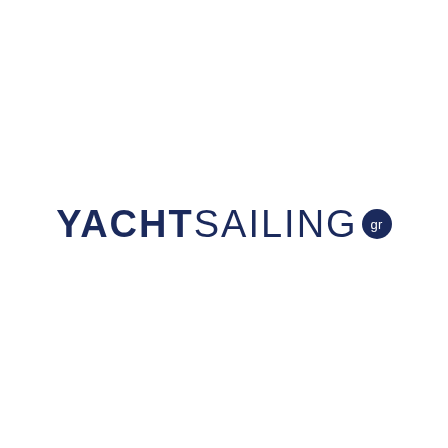[Figure (logo): YACHTSAILING.gr logo: 'YACHT' in bold dark navy uppercase, 'SAILING' in light-weight dark navy uppercase, followed by a dark navy filled circle with 'gr' in white text]